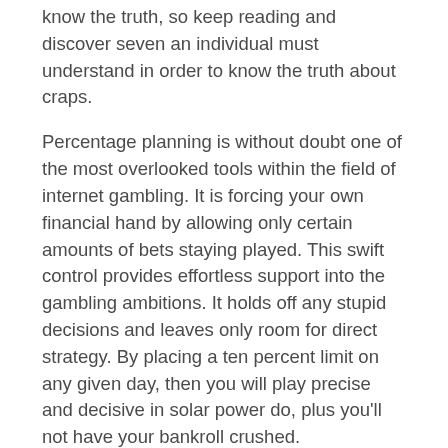know the truth, so keep reading and discover seven an individual must understand in order to know the truth about craps.
Percentage planning is without doubt one of the most overlooked tools within the field of internet gambling. It is forcing your own financial hand by allowing only certain amounts of bets staying played. This swift control provides effortless support into the gambling ambitions. It holds off any stupid decisions and leaves only room for direct strategy. By placing a ten percent limit on any given day, then you will play precise and decisive in solar power do, plus you'll not have your bankroll crushed.
Also, an individual a maximum with relation to its